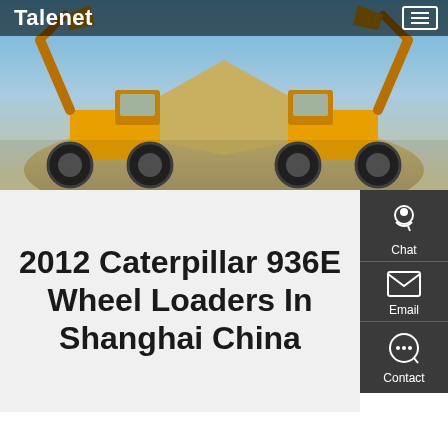Talenet
[Figure (photo): Two yellow Caterpillar 936E wheel loaders facing each other with raised buckets against a blue sky and sandy terrain background]
2012 Caterpillar 936E Wheel Loaders In Shanghai China
Chat
Email
Contact